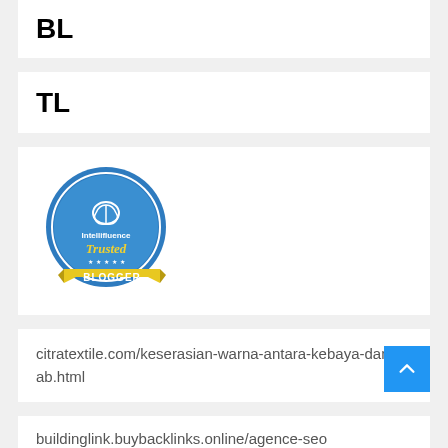BL
TL
[Figure (logo): Intellifluence Trusted Blogger badge - circular blue badge with yellow ribbon banner reading BLOGGER]
citratextile.com/keserasian-warna-antara-kebaya-dan-hijab.html
buildinglink.buybacklinks.online/agence-seo